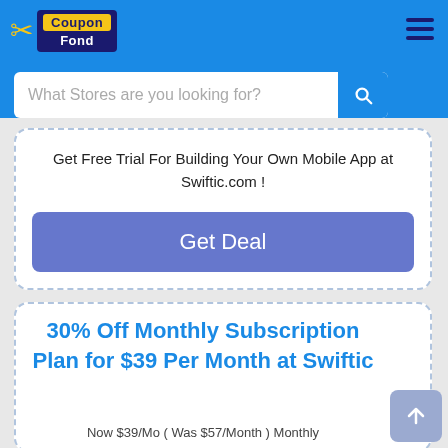CouponFond — What Stores are you looking for?
Get Free Trial For Building Your Own Mobile App at Swiftic.com !
Get Deal
30% Off Monthly Subscription Plan for $39 Per Month at Swiftic
Now $39/Mo ( Was $57/Month ) Monthly